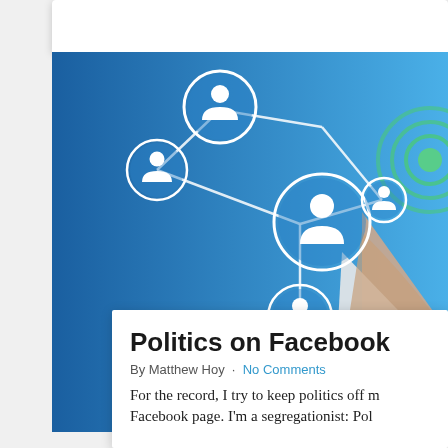[Figure (illustration): Social network graphic showing interconnected circles with white person/user silhouette icons on a blue gradient background. A person's hand (in white lab coat) points toward a green target/bullseye circle on the right. Lines connect the circles forming a network graph.]
Politics on Facebook
By Matthew Hoy · No Comments
For the record, I try to keep politics off my Facebook page. I'm a segregationist: Pol